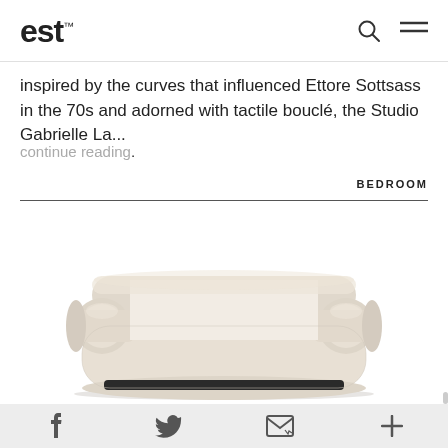est
inspired by the curves that influenced Ettore Sottsass in the 70s and adorned with tactile bouclé, the Studio Gabrielle La...
continue reading.
BEDROOM
[Figure (photo): A modern bouclé sofa/loveseat with cylindrical armrests and a tubular backrest, upholstered in a cream/beige textured fabric, viewed from the front on a white background. The sofa sits on a dark base and has a distinctive sculptural, rounded form.]
f  Twitter-bird  envelope  +